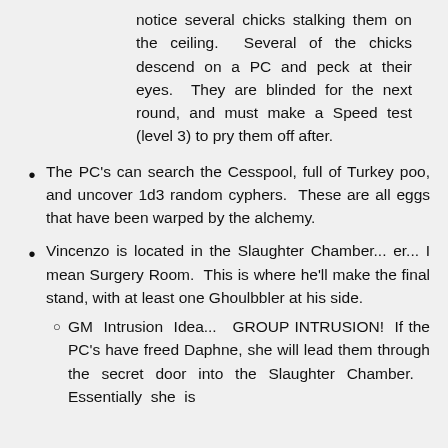notice several chicks stalking them on the ceiling.  Several of the chicks descend on a PC and peck at their eyes.  They are blinded for the next round, and must make a Speed test (level 3) to pry them off after.
The PC's can search the Cesspool, full of Turkey poo, and uncover 1d3 random cyphers.  These are all eggs that have been warped by the alchemy.
Vincenzo is located in the Slaughter Chamber... er... I mean Surgery Room.  This is where he'll make the final stand, with at least one Ghoulbbler at his side.
GM Intrusion Idea...  GROUP INTRUSION!  If the PC's have freed Daphne, she will lead them through the secret door into the Slaughter Chamber.  Essentially she is